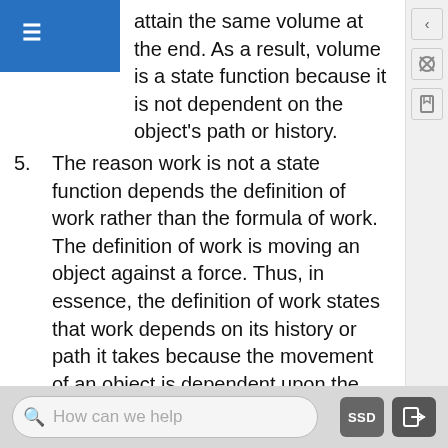attain the same volume at the end. As a result, volume is a state function because it is not dependent on the object's path or history.
5. The reason work is not a state function depends the definition of work rather than the formula of work. The definition of work is moving an object against a force. Thus, in essence, the definition of work states that work depends on its history or path it takes because the movement of an object is dependent upon the path taken to execute that movement (i.e. running vs. walking). Therefore, if an object is dependent on its history or on the path it takes, the resulting value or property is not a state function. Even though pressure and volume are state functions, the definition of work illustrates why work is not a state function.
How can we help